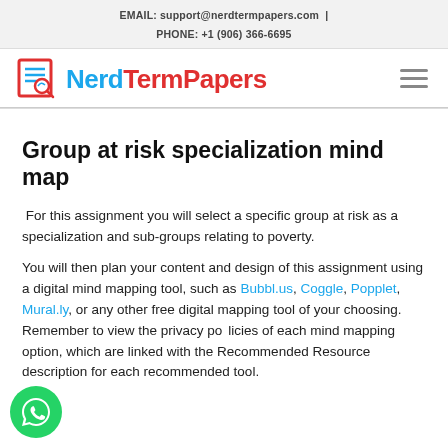EMAIL: support@nerdtermpapers.com | PHONE: +1 (906) 366-6695
[Figure (logo): NerdTermPapers logo with icon and text in blue and red]
Group at risk specialization mind map
For this assignment you will select a specific group at risk as a specialization and sub-groups relating to poverty.
You will then plan your content and design of this assignment using a digital mind mapping tool, such as Bubbl.us, Coggle, Popplet, Mural.ly, or any other free digital mapping tool of your choosing. Remember to view the privacy policies of each mind mapping option, which are linked with the Recommended Resource description for each recommended tool.